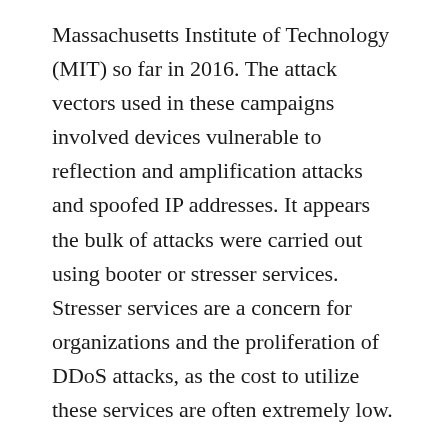Massachusetts Institute of Technology (MIT) so far in 2016. The attack vectors used in these campaigns involved devices vulnerable to reflection and amplification attacks and spoofed IP addresses. It appears the bulk of attacks were carried out using booter or stresser services. Stresser services are a concern for organizations and the proliferation of DDoS attacks, as the cost to utilize these services are often extremely low.
Philippines Government Websites
The Filipino government announced this week that 68 separate websites tied to the Philippines government were hit with DDoS attacks. The attacks started July 12 and carried